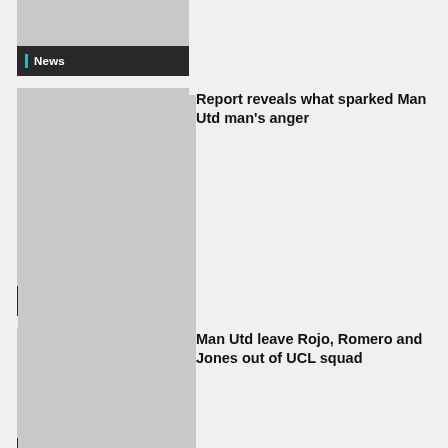[Figure (photo): Gray placeholder image at top]
News
[Figure (photo): Gray placeholder image for Man Utd anger article]
Report reveals what sparked Man Utd man's anger
News
[Figure (photo): Gray placeholder image for UCL squad article]
Man Utd leave Rojo, Romero and Jones out of UCL squad
News